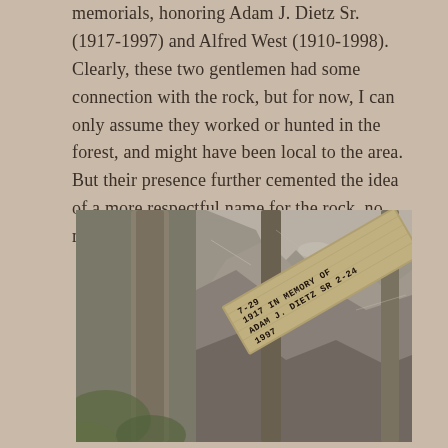memorials, honoring Adam J. Dietz Sr. (1917-1997) and Alfred West (1910-1998). Clearly, these two gentlemen had some connection with the rock, but for now, I can only assume they worked or hunted in the forest, and might have been local to the area. But their presence further cemented the idea of a more respectful name for the rock, no matter the Hitchcockian resemblance.
[Figure (photo): A wooden memorial sign reading '7-29 1917 IN MEMORY OF ADAM J. DIETZ SR 2-24 1997' mounted near a rocky outcrop and tree trunks in a forest setting.]